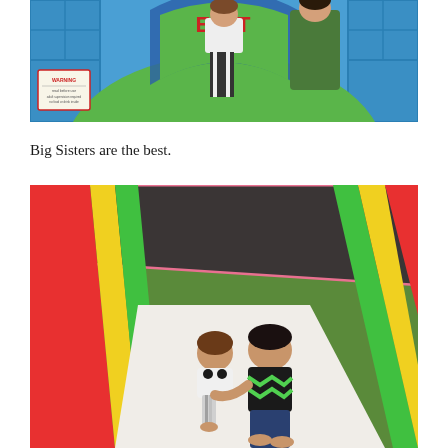[Figure (photo): Photo of a colorful inflatable bounce house with an EXIT sign archway. A child with striped leggings is visible going through the exit. The bounce house is blue with green hills and colorful details.]
Big Sisters are the best.
[Figure (photo): Photo taken from inside an inflatable bounce house slide. A young toddler in a Mickey Mouse shirt and an older child/adult in a black and green chevron sweater are sitting together at the bottom of the slide. The slide is white and the sides are colorful red, yellow and green inflatable walls.]